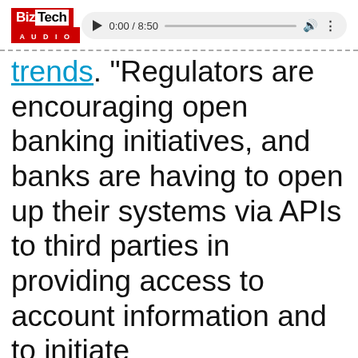[Figure (screenshot): BizTech Audio logo with red background and audio player widget showing 0:00 / 8:50 with play button, progress bar, volume and menu icons]
trends. "Regulators are encouraging open banking initiatives, and banks are having to open up their systems via APIs to third parties in providing access to account information and to initiate